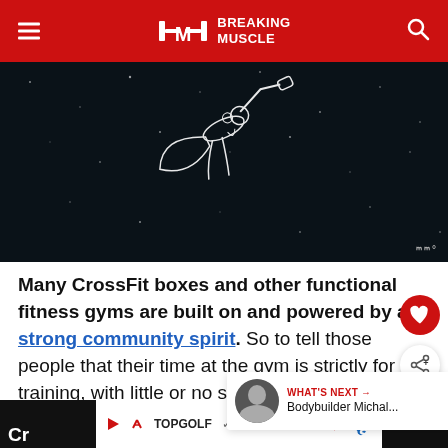BREAKING MUSCLE
[Figure (illustration): Dark starry background with white line-art illustration of a person in a cape or flowing garment, floating or flying]
Many CrossFit boxes and other functional fitness gyms are built on and powered by a strong community spirit. So to tell those people that their time at the gym is strictly for training, with little or no social interaction, is a bit contradictory.
[Figure (screenshot): Bottom advertisement bar showing TopGolf and restaurant options: Dine-in, Delivery with navigation arrow icon]